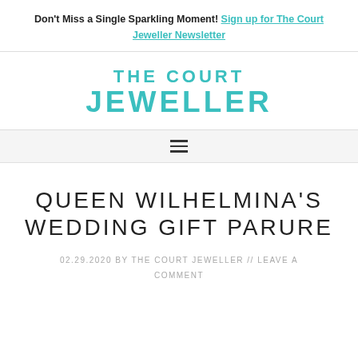Don't Miss a Single Sparkling Moment! Sign up for The Court Jeweller Newsletter
[Figure (logo): The Court Jeweller logo in teal/turquoise text, uppercase, two lines: 'THE COURT' and 'JEWELLER']
Navigation hamburger menu icon
QUEEN WILHELMINA'S WEDDING GIFT PARURE
02.29.2020 by THE COURT JEWELLER // LEAVE A COMMENT